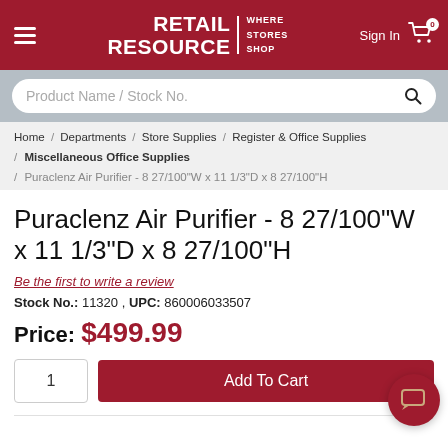RETAIL RESOURCE | WHERE STORES SHOP
Product Name / Stock No.
Home / Departments / Store Supplies / Register & Office Supplies / Miscellaneous Office Supplies / Puraclenz Air Purifier - 8 27/100"W x 11 1/3"D x 8 27/100"H
Puraclenz Air Purifier - 8 27/100"W x 11 1/3"D x 8 27/100"H
Be the first to write a review
Stock No.: 11320 , UPC: 860006033507
Price: $499.99
1
Add To Cart